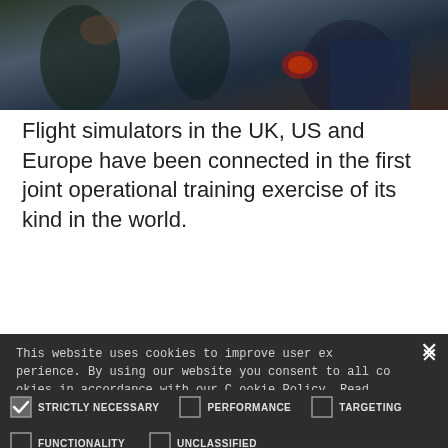[Figure (photo): Partial photo of people in what appears to be a military or aviation context, cropped at the top of the page.]
Flight simulators in the UK, US and Europe have been connected in the first joint operational training exercise of its kind in the world.
This website uses cookies to improve user experience. By using our website you consent to all cookies in accordance with our Cookie Policy. Read more
STRICTLY NECESSARY (checked), PERFORMANCE (unchecked), TARGETING (unchecked)
FUNCTIONALITY (unchecked), UNCLASSIFIED (unchecked)
SHOW DETAILS
ACCEPT ALL
DECLINE ALL